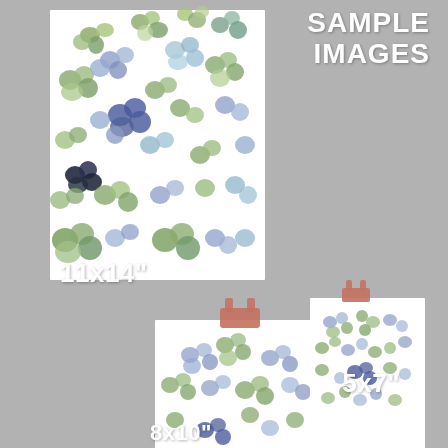SAMPLE IMAGES
[Figure (photo): Three prints of pressed hydrangea flower art displayed on a gray wall. The largest print (11x14 inches) is shown at top left, a medium print (8x10 inches) is shown at center bottom with a rose gold binder clip, and a small print (5x7 inches) is shown at right with a rose gold binder clip. All prints feature scattered pressed blue and green hydrangea flowers on white paper background.]
11x14"
5x7"
8x10"